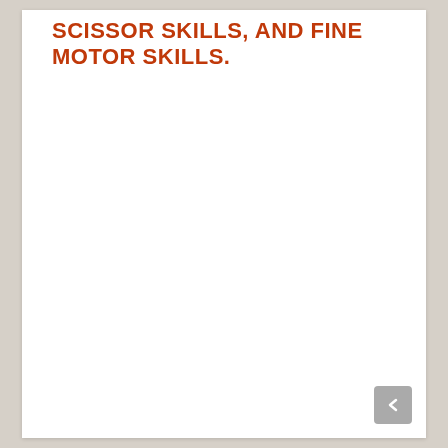SCISSOR SKILLS, AND FINE MOTOR SKILLS.